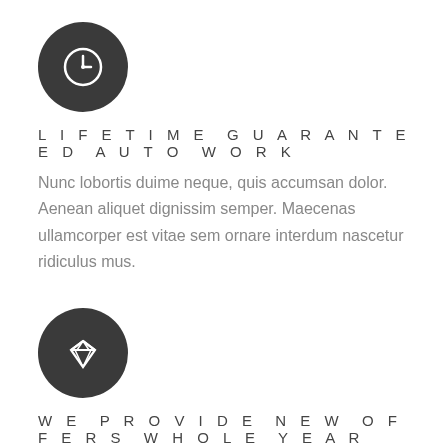[Figure (illustration): Dark circular icon with a clock/time symbol in white]
LIFETIME GUARANTEED AUTO WORK
Nunc lobortis duime neque, quis accumsan dolor. Aenean aliquet dignissim semper. Maecenas ullamcorper est vitae sem ornare interdum nascetur ridiculus mus.
[Figure (illustration): Dark circular icon with a diamond/gem symbol in white]
WE PROVIDE NEW OFFERS WHOLE YEAR